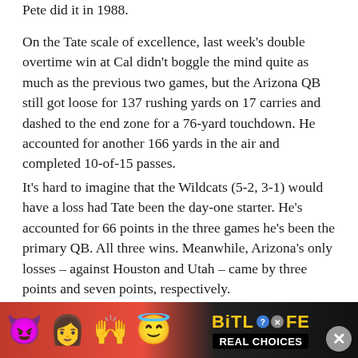Pete did it in 1988.
On the Tate scale of excellence, last week’s double overtime win at Cal didn’t boggle the mind quite as much as the previous two games, but the Arizona QB still got loose for 137 rushing yards on 17 carries and dashed to the end zone for a 76-yard touchdown. He accounted for another 166 yards in the air and completed 10-of-15 passes.
It’s hard to imagine that the Wildcats (5-2, 3-1) would have a loss had Tate been the day-one starter. He’s accounted for 66 points in the three games he’s been the primary QB. All three wins. Meanwhile, Arizona’s only losses – against Houston and Utah – came by three points and seven points, respectively.
So why
[Figure (screenshot): BitLife mobile advertisement banner with devil emoji, people emojis, angel emoji, sperm icon, BitLife logo in yellow, and 'REAL CHOICES' text on black background]